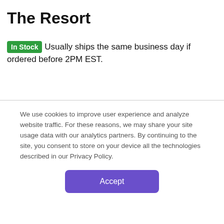The Resort
In Stock  Usually ships the same business day if ordered before 2PM EST.
[Figure (photo): Four product thumbnail photos: sunglasses and white accessories on palm leaf, white device with number display outdoors, white rounded device close-up, bathroom sliding door/cabinet.]
We use cookies to improve user experience and analyze website traffic. For these reasons, we may share your site usage data with our analytics partners. By continuing to the site, you consent to store on your device all the technologies described in our Privacy Policy.